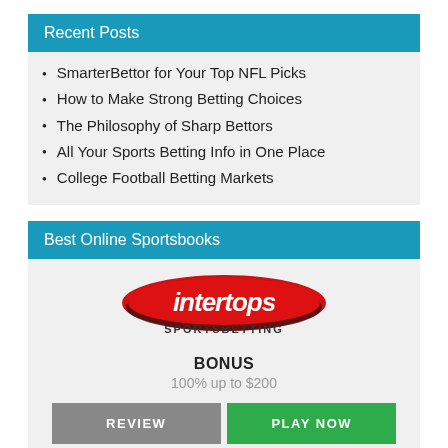Recent Posts
SmarterBettor for Your Top NFL Picks
How to Make Strong Betting Choices
The Philosophy of Sharp Bettors
All Your Sports Betting Info in One Place
College Football Betting Markets
Best Online Sportsbooks
[Figure (logo): Intertops Sportsbetting logo — red oval with white italic text 'intertops' and bold 'SPORTSBETTING' below]
BONUS
100% up to $200
REVIEW   PLAY NOW